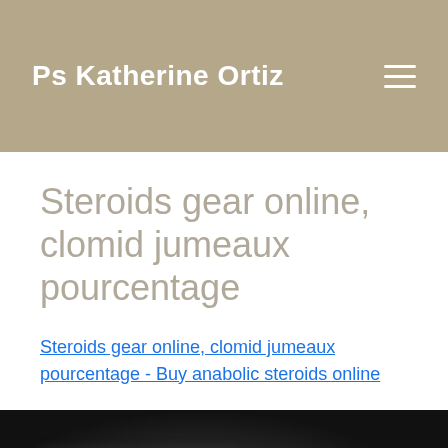Ps Katherine Ortiz
Steroids gear online, clomid jumeaux pourcentage
Steroids gear online, clomid jumeaux pourcentage - Buy anabolic steroids online
[Figure (photo): Dark blurred background image, partially visible]